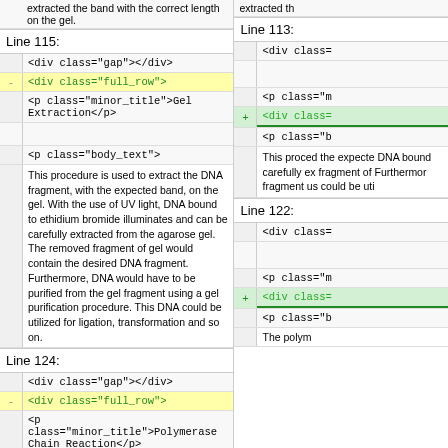extracted the band with the correct length on the gel.
Line 115:
<div class="gap"></div>
<div class="full_row">
<p class="minor_title">Gel Extraction</p>
<p class="body_text">
This procedure is used to extract the DNA fragment, with the expected band, on the gel. With the use of UV light, DNA bound to ethidium bromide illuminates and can be carefully extracted from the agarose gel. The removed fragment of gel would contain the desired DNA fragment. Furthermore, DNA would have to be purified from the gel fragment using a gel purification procedure. This DNA could be utilized for ligation, transformation and so on.
Line 124:
<div class="gap"></div>
<div class="full_row">
<p class="minor_title">Polymerase Chain Reaction</p>
<p class="body_text">
The polymerase chain reaction uses enzymes and
Line 113:
<div class=...
<p class="m...
Line 122:
<p class="b...
The polym...